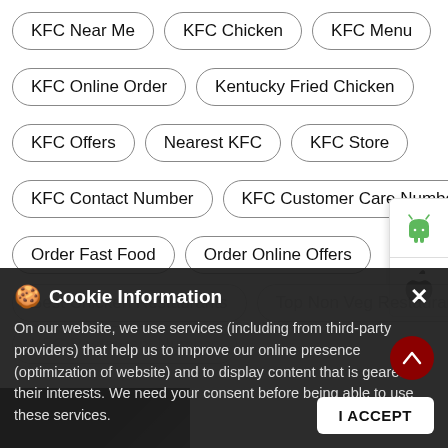KFC Near Me
KFC Chicken
KFC Menu
KFC Online Order
Kentucky Fried Chicken
KFC Offers
Nearest KFC
KFC Store
KFC Contact Number
KFC Customer Care Number
Order Fast Food
Order Online Offers
Best Chicken Restaurants
Top Non Veg Restaurants
KFC Restaurant Number
[Figure (screenshot): Android and iOS app download side buttons on the right edge of the page]
Cookie Information
On our website, we use services (including from third-party providers) that help us to improve our online presence (optimization of website) and to display content that is geared to their interests. We need your consent before being able to use these services.
I ACCEPT